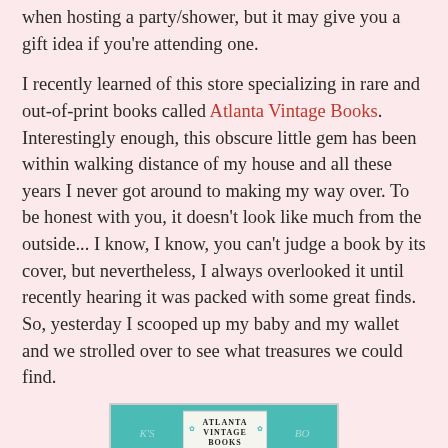when hosting a party/shower, but it may give you a gift idea if you're attending one.
I recently learned of this store specializing in rare and out-of-print books called Atlanta Vintage Books. Interestingly enough, this obscure little gem has been within walking distance of my house and all these years I never got around to making my way over. To be honest with you, it doesn't look like much from the outside... I know, I know, you can't judge a book by its cover, but nevertheless, I always overlooked it until recently hearing it was packed with some great finds. So, yesterday I scooped up my baby and my wallet and we strolled over to see what treasures we could find.
[Figure (photo): Exterior photo of Atlanta Vintage Books store, a corner building with teal/green awning, white brick facade, windows with SALE signs, and the store sign reading ATLANTA VINTAGE BOOKS.]